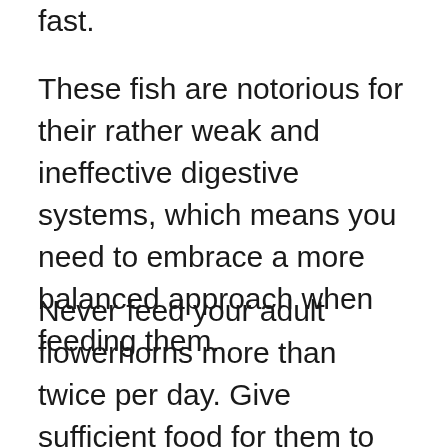fast.
These fish are notorious for their rather weak and ineffective digestive systems, which means you need to embrace a more balanced approach when feeding them.
Never feed your adult flowerhorns more than twice per day. Give sufficient food for them to consume within 3-4 minutes. This is enough to keep them safe from overfeeding, which could have devastating consequences for both the fish and its environment.